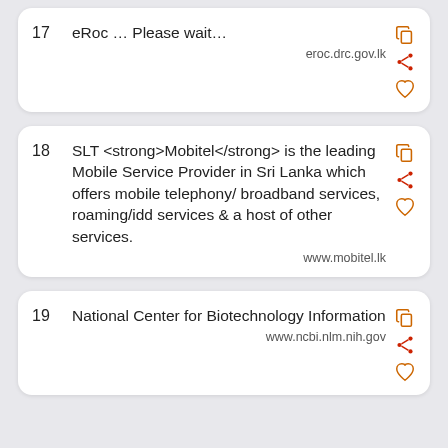17  eRoc … Please wait…  eroc.drc.gov.lk
18  SLT <strong>Mobitel</strong> is the leading Mobile Service Provider in Sri Lanka which offers mobile telephony/ broadband services, roaming/idd services & a host of other services.  www.mobitel.lk
19  National Center for Biotechnology Information  www.ncbi.nlm.nih.gov